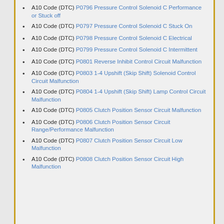A10 Code (DTC) P0796 Pressure Control Solenoid C Performance or Stuck off
A10 Code (DTC) P0797 Pressure Control Solenoid C Stuck On
A10 Code (DTC) P0798 Pressure Control Solenoid C Electrical
A10 Code (DTC) P0799 Pressure Control Solenoid C Intermittent
A10 Code (DTC) P0801 Reverse Inhibit Control Circuit Malfunction
A10 Code (DTC) P0803 1-4 Upshift (Skip Shift) Solenoid Control Circuit Malfunction
A10 Code (DTC) P0804 1-4 Upshift (Skip Shift) Lamp Control Circuit Malfunction
A10 Code (DTC) P0805 Clutch Position Sensor Circuit Malfunction
A10 Code (DTC) P0806 Clutch Position Sensor Circuit Range/Performance Malfunction
A10 Code (DTC) P0807 Clutch Position Sensor Circuit Low Malfunction
A10 Code (DTC) P0808 Clutch Position Sensor Circuit High Malfunction